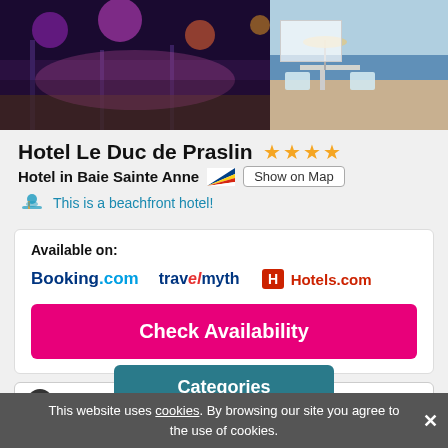[Figure (photo): Two hotel photos side by side: left shows a beach bar/restaurant area lit in purple/pink at night, right shows a beach terrace with white furniture]
Hotel Le Duc de Praslin ★★★★
Hotel in Baie Sainte Anne [flag] Show on Map
This is a beachfront hotel!
Available on: Booking.com  travelmyth  Hotels.com
Check Availability
Info
Hotel with Swimming Pool - Accessible Pool, Community Pool
Categories
This website uses cookies. By browsing our site you agree to the use of cookies.